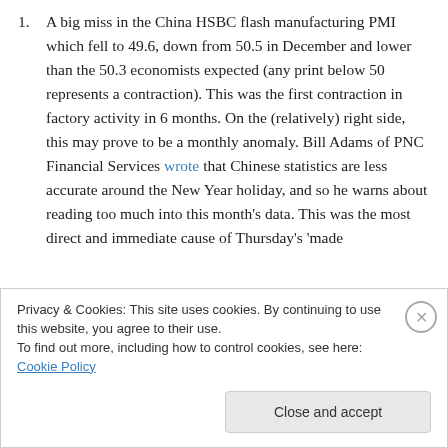A big miss in the China HSBC flash manufacturing PMI which fell to 49.6, down from 50.5 in December and lower than the 50.3 economists expected (any print below 50 represents a contraction). This was the first contraction in factory activity in 6 months. On the (relatively) right side, this may prove to be a monthly anomaly. Bill Adams of PNC Financial Services wrote that Chinese statistics are less accurate around the New Year holiday, and so he warns about reading too much into this month's data. This was the most direct and immediate cause of Thursday's 'made
Privacy & Cookies: This site uses cookies. By continuing to use this website, you agree to their use.
To find out more, including how to control cookies, see here: Cookie Policy